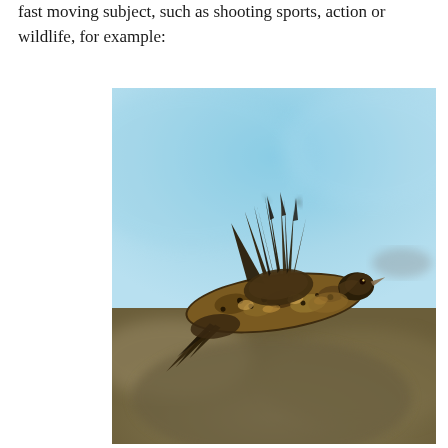fast moving subject, such as shooting sports, action or wildlife, for example:
[Figure (photo): A bird, likely a pheasant or grouse, captured in flight against a blurred sky and landscape background. The bird is shown from above/side, with wings spread, showing detailed mottled brown and black feather patterns.]